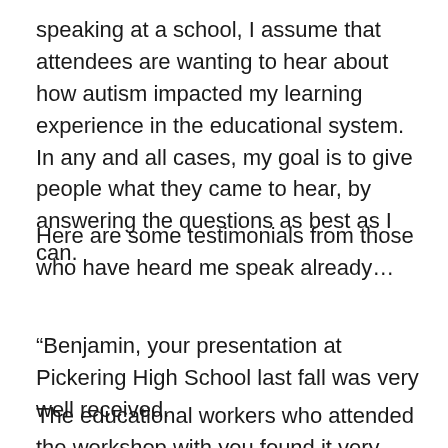speaking at a school, I assume that attendees are wanting to hear about how autism impacted my learning experience in the educational system. In any and all cases, my goal is to give people what they came to hear, by answering the questions as best as I can.
Here are some testimonials from those who have heard me speak already…
“Benjamin, your presentation at Pickering High School last fall was very well received.
The educational workers who attended the workshop with you found it very interesting to see autism from the inside,